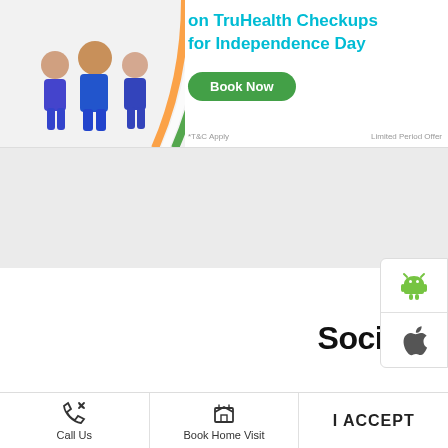[Figure (infographic): Health checkup promotion banner for Independence Day with family photo and 'Book Now' button]
Social Timeline
< Back to Timeline
Cookie Information
On our website, we use services (including from third-party providers) that help us to improve our online presence (optimization of website) and to display content that is geared to their interests. We need your consent before being able to use these services.
Call Us
Book Home Visit
Directions